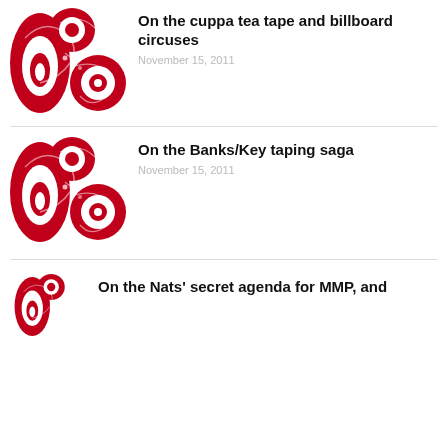[Figure (illustration): Red and white Maori koru/kowhaiwhai decorative pattern logo]
On the cuppa tea tape and billboard circuses
November 15, 2011
[Figure (illustration): Red and white Maori koru/kowhaiwhai decorative pattern logo]
On the Banks/Key taping saga
November 15, 2011
[Figure (illustration): Red and white Maori koru/kowhaiwhai decorative pattern logo]
On the Nats' secret agenda for MMP, and